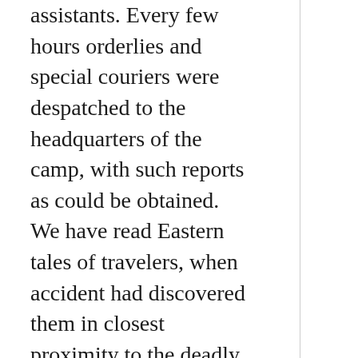assistants. Every few hours orderlies and special couriers were despatched to the headquarters of the camp, with such reports as could be obtained. We have read Eastern tales of travelers, when accident had discovered them in closest proximity to the deadly cobra de capello, the breathless horror with which they contemplated its motions, and saw it slowly coiling itself upon their limbs, or upon a table at their bedsides, and knowing that a single motion on the part of the imperilled person would be but to invite certain death, the vigilance and eager solicitude, the distressing